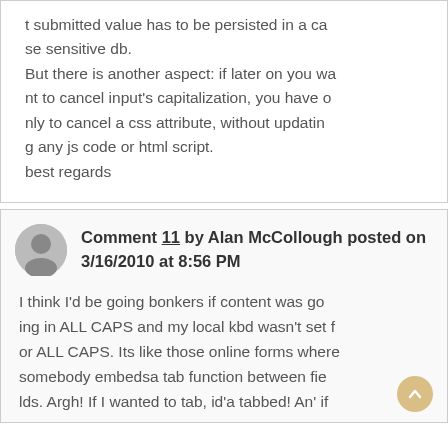t submitted value has to be persisted in a case sensitive db.
But there is another aspect: if later on you want to cancel input's capitalization, you have only to cancel a css attribute, without updating any js code or html script.
best regards
Comment 11 by Alan McCollough posted on 3/16/2010 at 8:56 PM
I think I'd be going bonkers if content was going in ALL CAPS and my local kbd wasn't set for ALL CAPS. Its like those online forms where somebody embedsa tab function between fields. Argh! If I wanted to tab, id'a tabbed! An' if